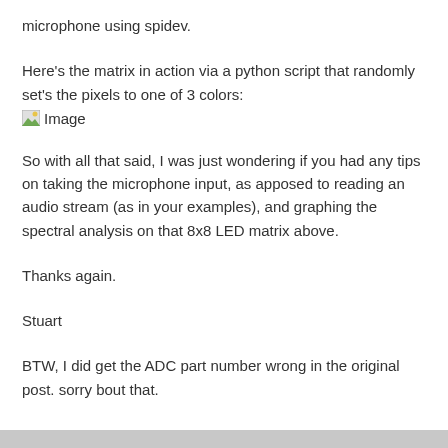microphone using spidev.
Here's the matrix in action via a python script that randomly set's the pixels to one of 3 colors:
[Figure (photo): Broken/missing image placeholder labeled 'Image']
So with all that said, I was just wondering if you had any tips on taking the microphone input, as apposed to reading an audio stream (as in your examples), and graphing the spectral analysis on that 8x8 LED matrix above.
Thanks again.
Stuart
BTW, I did get the ADC part number wrong in the original post. sorry bout that.